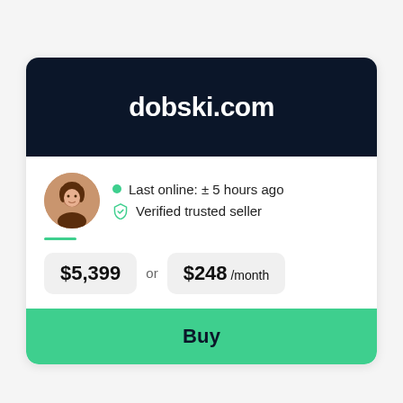dobski.com
Last online: ± 5 hours ago
Verified trusted seller
$5,399 or $248 /month
Buy